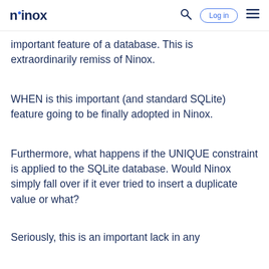ninox  Log in
important feature of a database. This is extraordinarily remiss of Ninox.
WHEN is this important (and standard SQLite) feature going to be finally adopted in Ninox.
Furthermore, what happens if the UNIQUE constraint is applied to the SQLite database. Would Ninox simply fall over if it ever tried to insert a duplicate value or what?
Seriously, this is an important lack in any